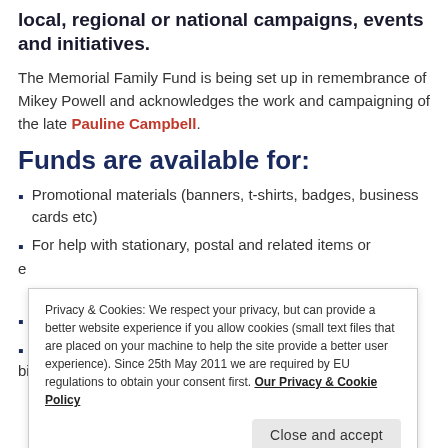local, regional or national campaigns, events and initiatives.
The Memorial Family Fund is being set up in remembrance of Mikey Powell and acknowledges the work and campaigning of the late Pauline Campbell.
Funds are available for:
Promotional materials (banners, t-shirts, badges, business cards etc)
For help with stationary, postal and related items or e...
Privacy & Cookies: We respect your privacy, but can provide a better website experience if you allow cookies (small text files that are placed on your machine to help the site provide a better user experience). Since 25th May 2011 we are required by EU regulations to obtain your consent first. Our Privacy & Cookie Policy
bills